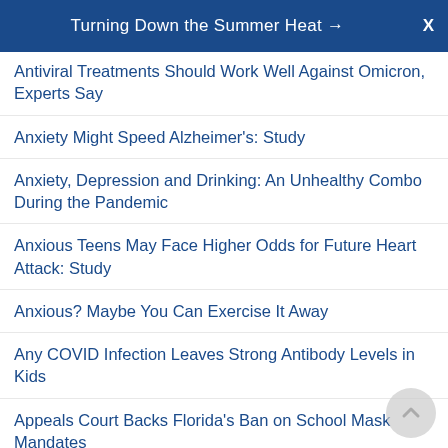Turning Down the Summer Heat →   X
Antiviral Treatments Should Work Well Against Omicron, Experts Say
Anxiety Might Speed Alzheimer's: Study
Anxiety, Depression and Drinking: An Unhealthy Combo During the Pandemic
Anxious Teens May Face Higher Odds for Future Heart Attack: Study
Anxious? Maybe You Can Exercise It Away
Any COVID Infection Leaves Strong Antibody Levels in Kids
Appeals Court Backs Florida's Ban on School Mask Mandates
Are At-Home 'Learning Pods' the Right Fit for Your Family?
Are Immune-Compromised Kids at Greater Risk